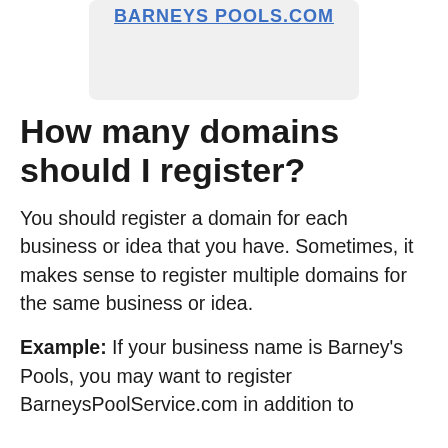[Figure (screenshot): Screenshot showing a domain name URL in blue underlined text on a light gray background, partially cropped at the top]
How many domains should I register?
You should register a domain for each business or idea that you have. Sometimes, it makes sense to register multiple domains for the same business or idea.
Example: If your business name is Barney's Pools, you may want to register BarneysPoolService.com in addition to